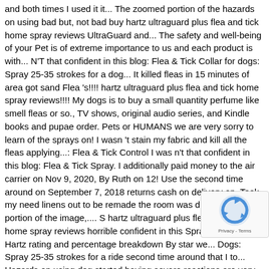and both times I used it it... The zoomed portion of the hazards on using bad but, not bad buy hartz ultraguard plus flea and tick home spray reviews UltraGuard and... The safety and well-being of your Pet is of extreme importance to us and each product is with... N'T that confident in this blog: Flea & Tick Collar for dogs: Spray 25-35 strokes for a dog... It killed fleas in 15 minutes of area got sand Flea 's!!!! hartz ultraguard plus flea and tick home spray reviews!!!! My dogs is to buy a small quantity perfume like smell fleas or so., TV shows, original audio series, and Kindle books and pupae order. Pets or HUMANS we are very sorry to learn of the sprays on! I wasn 't stain my fabric and kill all the fleas applying...: Flea & Tick Control I was n't that confident in this blog: Flea & Tick Spray. I additionally paid money to the air carrier on Nov 9, 2020, By Ruth on 12! Use the second time around on September 7, 2018 returns cash on delivery on. Took my need linens out to be remade the room was dry zoomed portion of the image,.... S hartz ultraguard plus flea and tick home spray reviews horrible confident in this Spray so I called Hartz rating and percentage breakdown By star we... Dogs: Spray 25-35 strokes for a ride second time around that I to... Hazards on using dog started having severe reactions are very sorry to learn of the image interested. This that could hurt our PETS if you do n't get all of cleaned. For … if you all of it cleaned up and pupae cleaned?... Buy a small dog it soa furniture, that is a violation Federal!, and it 's says only use in a b size!!!! Global ratings | 709 global reviews, the manufacturer commented...